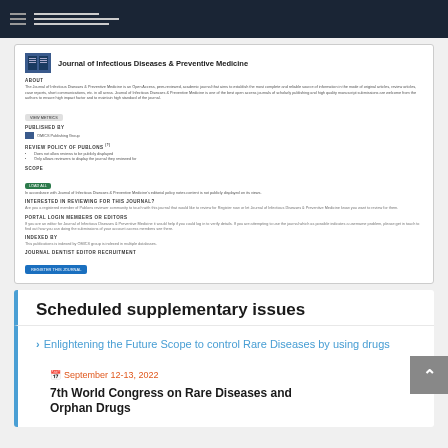Navigation bar
[Figure (screenshot): Journal of Infectious Diseases & Preventive Medicine page preview showing journal info, ABOUT section, publisher (OMICS Publishing Group), review policy, scope, and registration button.]
Scheduled supplementary issues
Enlightening the Future Scope to control Rare Diseases by using drugs
September 12-13, 2022
7th World Congress on Rare Diseases and Orphan Drugs